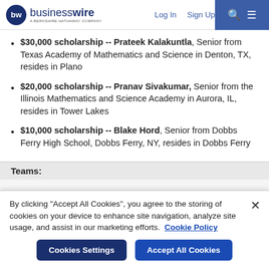businesswire — A Berkshire Hathaway Company | Log In | Sign Up
$30,000 scholarship -- Prateek Kalakuntla, Senior from Texas Academy of Mathematics and Science in Denton, TX, resides in Plano
$20,000 scholarship -- Pranav Sivakumar, Senior from the Illinois Mathematics and Science Academy in Aurora, IL, resides in Tower Lakes
$10,000 scholarship -- Blake Hord, Senior from Dobbs Ferry High School, Dobbs Ferry, NY, resides in Dobbs Ferry
Teams:
By clicking "Accept All Cookies", you agree to the storing of cookies on your device to enhance site navigation, analyze site usage, and assist in our marketing efforts.  Cookie Policy
Cookies Settings | Accept All Cookies